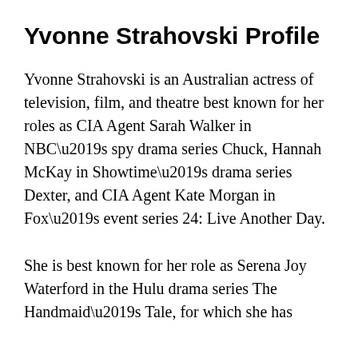Yvonne Strahovski Profile
Yvonne Strahovski is an Australian actress of television, film, and theatre best known for her roles as CIA Agent Sarah Walker in NBC’s spy drama series Chuck, Hannah McKay in Showtime’s drama series Dexter, and CIA Agent Kate Morgan in Fox’s event series 24: Live Another Day.
She is best known for her role as Serena Joy Waterford in the Hulu drama series The Handmaid’s Tale, for which she has